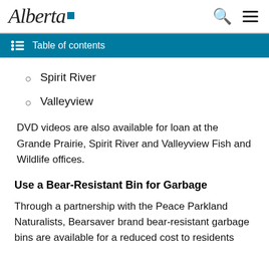Alberta [logo]
Table of contents
Spirit River
Valleyview
DVD videos are also available for loan at the Grande Prairie, Spirit River and Valleyview Fish and Wildlife offices.
Use a Bear-Resistant Bin for Garbage
Through a partnership with the Peace Parkland Naturalists, Bearsaver brand bear-resistant garbage bins are available for a reduced cost to residents